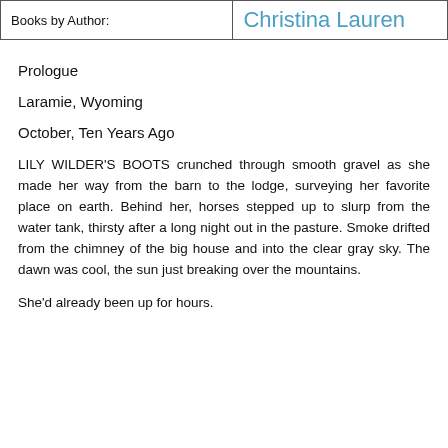| Books by Author: | Christina Lauren |
| --- | --- |
Prologue
Laramie, Wyoming
October, Ten Years Ago
LILY WILDER'S BOOTS crunched through smooth gravel as she made her way from the barn to the lodge, surveying her favorite place on earth. Behind her, horses stepped up to slurp from the water tank, thirsty after a long night out in the pasture. Smoke drifted from the chimney of the big house and into the clear gray sky. The dawn was cool, the sun just breaking over the mountains.
She'd already been up for hours.